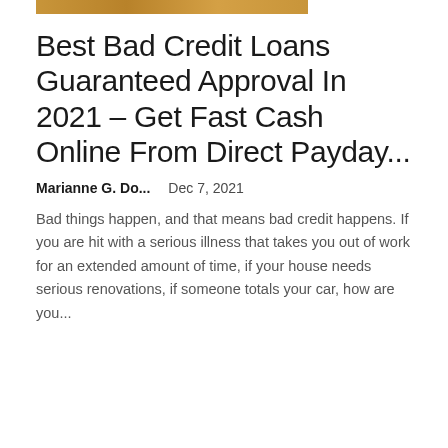[Figure (photo): Partial image banner showing a warm golden/brown tone, cropped at top of page]
Best Bad Credit Loans Guaranteed Approval In 2021 – Get Fast Cash Online From Direct Payday...
Marianne G. Do...    Dec 7, 2021
Bad things happen, and that means bad credit happens. If you are hit with a serious illness that takes you out of work for an extended amount of time, if your house needs serious renovations, if someone totals your car, how are you...